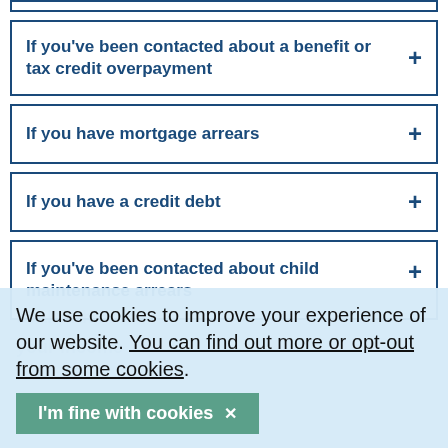If you've been contacted about a benefit or tax credit overpayment
If you have mortgage arrears
If you have a credit debt
If you've been contacted about child maintenance arrears
We use cookies to improve your experience of our website. You can find out more or opt-out from some cookies.
I'm fine with cookies ✕